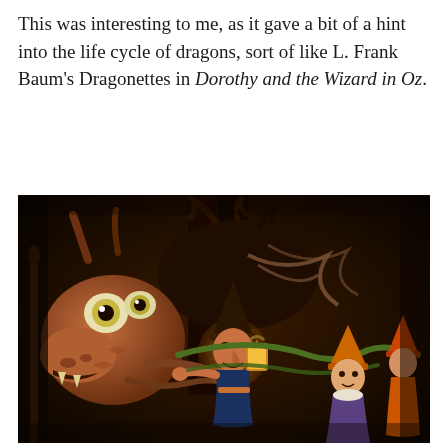This was interesting to me, as it gave a bit of a hint into the life cycle of dragons, sort of like L. Frank Baum's Dragonettes in Dorothy and the Wizard in Oz.
[Figure (illustration): A dark fantasy illustration depicting a large dragon-like creature with bulging eyes on the left facing a small figure in a pointed hat holding a lantern, with two other small figures (a girl and another character) in the lower right, set in a dark cave or dungeon environment. Style reminiscent of early 20th century book illustration for the Oz series.]